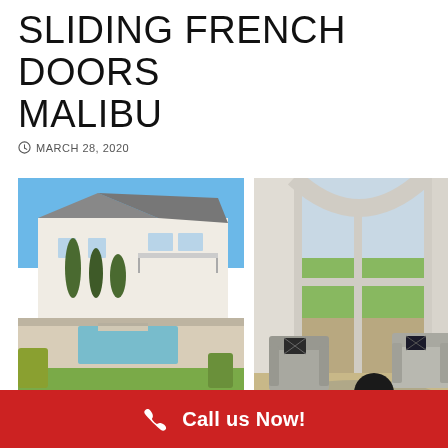SLIDING FRENCH DOORS MALIBU
MARCH 28, 2020
[Figure (photo): Exterior view of a large white luxury home with swimming pool, cypress trees, and blue sky]
[Figure (photo): Interior view of a living room with large curved floor-to-ceiling sliding glass windows, grey armchairs, and view of trees outside]
Call us Now!